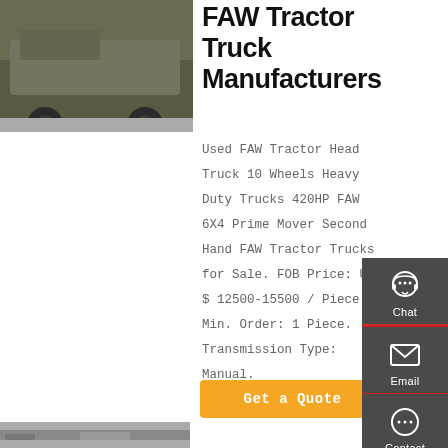[Figure (photo): Partial view of a FAW tractor truck, dark/military green coloring, showing top portion of vehicle]
FAW Tractor Truck Manufacturers
Used FAW Tractor Head Truck 10 Wheels Heavy Duty Trucks 420HP FAW 6X4 Prime Mover Second Hand FAW Tractor Trucks for Sale. FOB Price: US $ 12500-15500 / Piece. Min. Order: 1 Piece. Transmission Type: Manual.
[Figure (infographic): Dark sidebar with Chat (headset icon), Email (envelope icon), Contact (speech bubble icon), Top (up arrow icon) buttons, separated by red lines]
Get a Quote
[Figure (photo): Bottom partial thumbnail image of a truck, gray/muted tones]